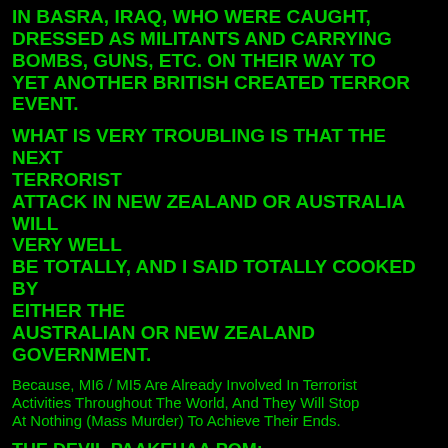IN BASRA, IRAQ, WHO WERE CAUGHT, DRESSED AS MILITANTS AND CARRYING BOMBS, GUNS, ETC. ON THEIR WAY TO YET ANOTHER BRITISH CREATED TERROR EVENT.
WHAT IS VERY TROUBLING IS THAT THE NEXT TERRORIST ATTACK IN NEW ZEALAND OR AUSTRALIA WILL VERY WELL BE TOTALLY, AND I SAID TOTALLY COOKED BY EITHER THE AUSTRALIAN OR NEW ZEALAND GOVERNMENT.
Because, MI6 / MI5 Are Already Involved In Terrorist Activities Throughout The World, And They Will Stop At Nothing (Mass Murder) To Achieve Their Ends.
THE DEVIL PAAKEHAA POM:
HORUS EYE OF LUCIFER,